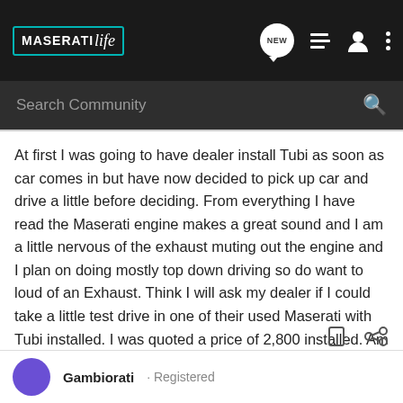MASERATIlife — Navigation bar with logo, NEW bubble, list icon, user icon, dots icon
Search Community
At first I was going to have dealer install Tubi as soon as car comes in but have now decided to pick up car and drive a little before deciding. From everything I have read the Maserati engine makes a great sound and I am a little nervous of the exhaust muting out the engine and I plan on doing mostly top down driving so do want to loud of an Exhaust. Think I will ask my dealer if I could take a little test drive in one of their used Maserati with Tubi installed. I was quoted a price of 2,800 installed. Am being told my car is a status 20 which means the body is on and next will be 70 which is the last stage before the final test and shipping. Did you follow the status of yours?
Gambiorati · Registered